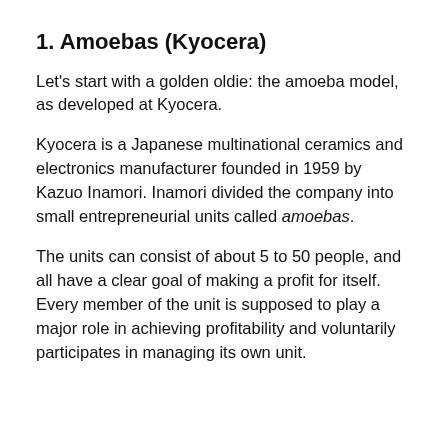1. Amoebas (Kyocera)
Let's start with a golden oldie: the amoeba model, as developed at Kyocera.
Kyocera is a Japanese multinational ceramics and electronics manufacturer founded in 1959 by Kazuo Inamori. Inamori divided the company into small entrepreneurial units called amoebas.
The units can consist of about 5 to 50 people, and all have a clear goal of making a profit for itself. Every member of the unit is supposed to play a major role in achieving profitability and voluntarily participates in managing its own unit.